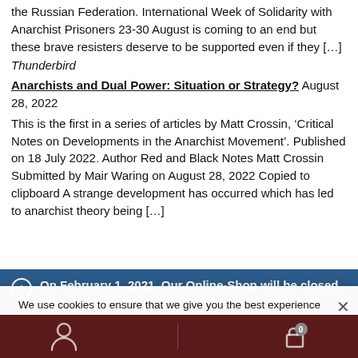the Russian Federation. International Week of Solidarity with Anarchist Prisoners 23-30 August is coming to an end but these brave resisters deserve to be supported even if they [...]
Thunderbird
Anarchists and Dual Power: Situation or Strategy? August 28, 2022
This is the first in a series of articles by Matt Crossin, 'Critical Notes on Developments in the Anarchist Movement'. Published on 18 July 2022. Author Red and Black Notes Matt Crossin Submitted by Mair Waring on August 28, 2022 Copied to clipboard A strange development has occurred which has led to anarchist theory being [...]
On February 1, 2021, Our Online-Shop will be closed. All orders until January 31 will be delivered
We use cookies to ensure that we give you the best experience on our website. If you continue to use this site we will assume that you are happy with it.
Ok
Dismiss